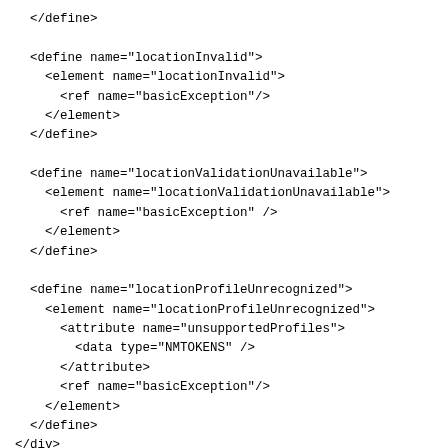XML/Relax NG schema code snippet showing locationInvalid, locationValidationUnavailable, locationProfileUnrecognized define elements, followed by a div with a:documentation containing 'Redirect.' and beginning of a redirect define element